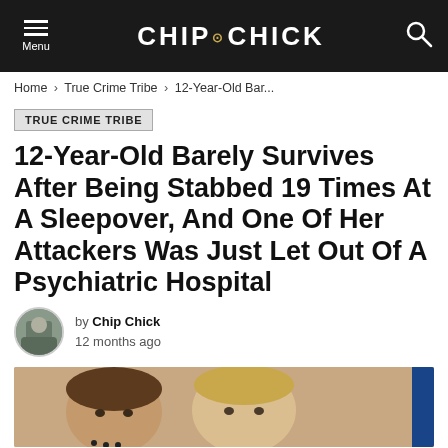CHIP CHICK
Home › True Crime Tribe › 12-Year-Old Bar...
TRUE CRIME TRIBE
12-Year-Old Barely Survives After Being Stabbed 19 Times At A Sleepover, And One Of Her Attackers Was Just Let Out Of A Psychiatric Hospital
by Chip Chick
12 months ago
[Figure (photo): Photo showing faces of people related to the article]